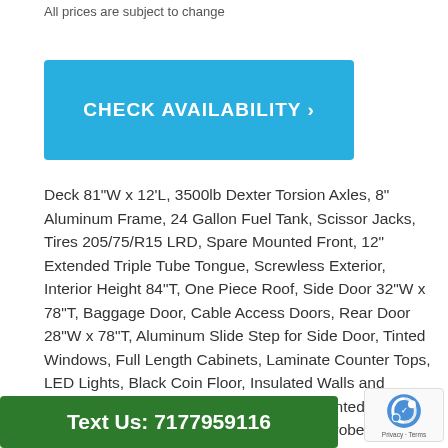All prices are subject to change
[Figure (other): Blue CHECK AVAILABILITY button with right arrow]
Deck 81"W x 12'L, 3500lb Dexter Torsion Axles, 8" Aluminum Frame, 24 Gallon Fuel Tank, Scissor Jacks, Tires 205/75/R15 LRD, Spare Mounted Front, 12" Extended Triple Tube Tongue, Screwless Exterior, Interior Height 84"T, One Piece Roof, Side Door 32"W x 78"T, Baggage Door, Cable Access Doors, Rear Door 28"W x 78"T, Aluminum Slide Step for Side Door, Tinted Windows, Full Length Cabinets, Laminate Counter Tops, LED Lights, Black Coin Floor, Insulated Walls and Ceiling, Air Conditioning, 1500W Wall Mounted Heater, 4.0 KW Onan Generator, Remote Start, Strobe Lights, 50 Amp Breaker Box, 60 Amp Converter, Fire Extinguisher, Wheel Chocks, C
[Figure (other): Green Text Us: 7177959116 button at bottom]
[Figure (other): reCAPTCHA badge with Privacy - Terms text]